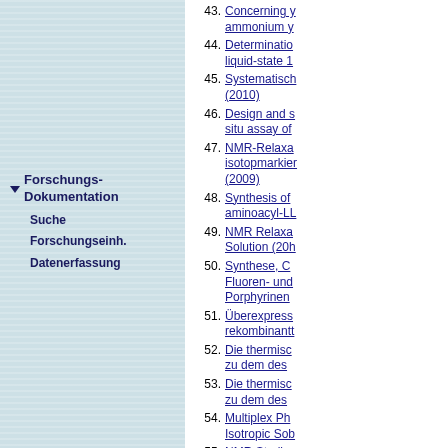43. Concerning y ammonium y
44. Determinatio liquid-state 1
45. Systematisch (2010)
46. Design and s situ assay of
47. NMR-Relaxa isotopmarkier (2009)
48. Synthesis of aminoacyl-LL
49. NMR Relaxa Solution (20h
50. Synthese, C Fluoren- und Porphyrinen
51. Überexpress rekombinantt
52. Die thermisc zu dem des
53. Die thermisc zu dem des
54. Multiplex Ph Isotropic Sob
55. NMR Studie
56. Quantum Ch meso (2007)
57. Targeted Hy Potential Dru
58. Transporteig
59. Further Deve Passerini- ar
60. Optimizationn (2006)
Forschungs-Dokumentation
Suche
Forschungseinh.
Datenerfassung